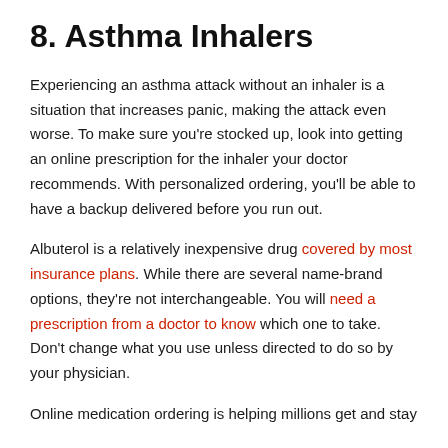8. Asthma Inhalers
Experiencing an asthma attack without an inhaler is a situation that increases panic, making the attack even worse. To make sure you're stocked up, look into getting an online prescription for the inhaler your doctor recommends. With personalized ordering, you'll be able to have a backup delivered before you run out.
Albuterol is a relatively inexpensive drug covered by most insurance plans. While there are several name-brand options, they're not interchangeable. You will need a prescription from a doctor to know which one to take. Don't change what you use unless directed to do so by your physician.
Online medication ordering is helping millions get and stay